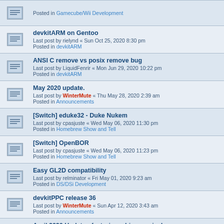Posted in Gamecube/Wii Development
devkitARM on Gentoo
Last post by rielynd « Sun Oct 25, 2020 8:30 pm
Posted in devkitARM
ANSI C remove vs posix remove bug
Last post by LiquidFenrir « Mon Jun 29, 2020 10:22 pm
Posted in devkitARM
May 2020 update.
Last post by WinterMute « Thu May 28, 2020 2:39 am
Posted in Announcements
[Switch] eduke32 - Duke Nukem
Last post by cpasjuste « Wed May 06, 2020 11:30 pm
Posted in Homebrew Show and Tell
[Switch] OpenBOR
Last post by cpasjuste « Wed May 06, 2020 11:23 pm
Posted in Homebrew Show and Tell
Easy GL2D compatibility
Last post by relminator « Fri May 01, 2020 9:23 am
Posted in DS/DSi Development
devkitPPC release 36
Last post by WinterMute « Sun Apr 12, 2020 3:43 am
Posted in Announcements
April 2020 Update - featuring a big surprise!
Last post by fincs « Sun Apr 05, 2020 2:15 am
Posted in Announcements
How force aspect ratio from code?
Last post by nebiun « Mon Feb 17, 2020 1:54 pm
Posted in Gamecube/Wii Development
Hardware Sales?
Last post by stressbox « Tue Jan 07, 2020 8:43 pm